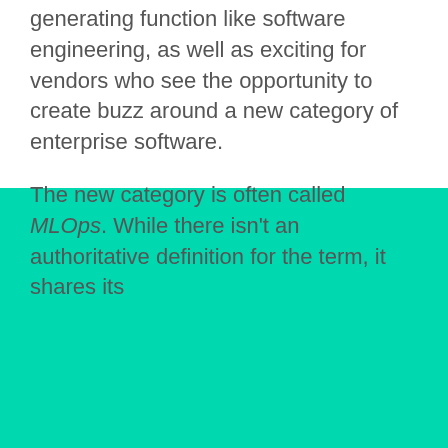generating function like software engineering, as well as exciting for vendors who see the opportunity to create buzz around a new category of enterprise software.
The new category is often called MLOps. While there isn't an authoritative definition for the term, it shares its